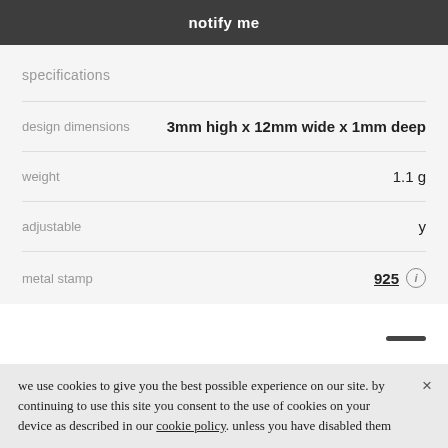notify me
specifications
|  |  |
| --- | --- |
| design dimensions | 3mm high x 12mm wide x 1mm deep |
| weight | 1.1 g |
| adjustable | y |
| metal stamp | 925 ⓘ |
we use cookies to give you the best possible experience on our site. by continuing to use this site you consent to the use of cookies on your device as described in our cookie policy. unless you have disabled them